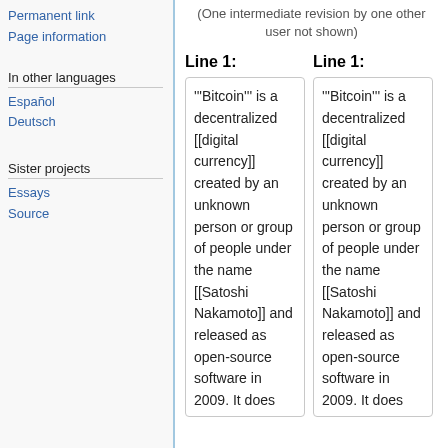Permanent link
Page information
In other languages
Español
Deutsch
Sister projects
Essays
Source
(One intermediate revision by one other user not shown)
Line 1:
Line 1:
'''Bitcoin''' is a decentralized [[digital currency]] created by an unknown person or group of people under the name [[Satoshi Nakamoto]] and released as open-source software in 2009. It does not rely on a central server to process transactions or store funds. There are a
'''Bitcoin''' is a decentralized [[digital currency]] created by an unknown person or group of people under the name [[Satoshi Nakamoto]] and released as open-source software in 2009. It does not rely on a central server to process transactions or store funds. There are a